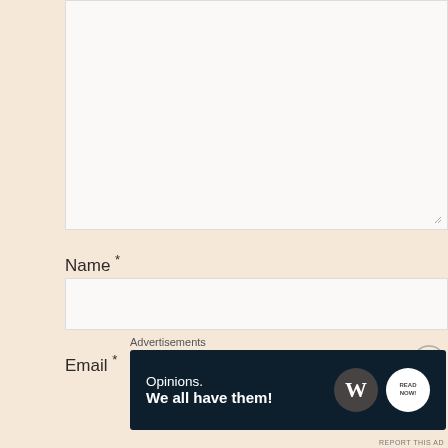[Figure (screenshot): White textarea input box (comment field), partially visible at top of page]
Name *
[Figure (screenshot): White single-line text input box for Name field]
Email *
Advertisements
[Figure (other): Dark navy advertisement banner reading 'Opinions. We all have them!' with WordPress and another circular logo on the right]